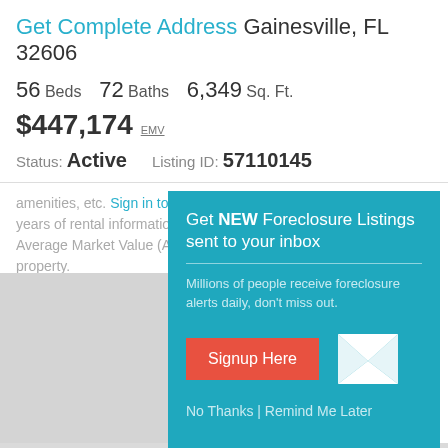Get Complete Address Gainesville, FL 32606
56 Beds  72 Baths  6,349 Sq. Ft.
$447,174 EMV
Status: Active   Listing ID: 57110145
amenities, etc. Sign in to view a full two years of rental information as well as the Average Market Value (AVM) of this property.
[Figure (infographic): Popup overlay on teal background: Get NEW Foreclosure Listings sent to your inbox. Millions of people receive foreclosure alerts daily, don't miss out. Signup Here button (red). Mail envelope icon. No Thanks | Remind Me Later link.]